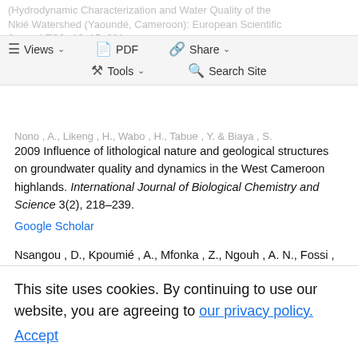(Hydrodynamic Characterization and Water Quality of the Nkié Watershed (Yaoundé, Cameroon): European Scientific Journal ESJ.v16n15p281.
[Figure (screenshot): Website toolbar with Views, PDF, Share, Tools, and Search Site buttons on a light grey background]
Nono , A., Likeng , H., Wabo , H., Tabue , Y. & Biaya , S. 2009 Influence of lithological nature and geological structures on groundwater quality and dynamics in the West Cameroon highlands. International Journal of Biological Chemistry and Science 3(2), 218–239.
Google Scholar
Nsangou , D., Kpoumié , A., Mfonka , Z., Ngouh , A. N., Fossi , D. H., Jourdan , C. & Ngoupayou , J. R. N. 2022 Urban flood susceptibility modelling using AHP and GIS approach: case of the Mfoundi watershed at Yaoundé in
This site uses cookies. By continuing to use our website, you are agreeing to our privacy policy. Accept
Porchet , M. 1931 Hydrodynamique des puits